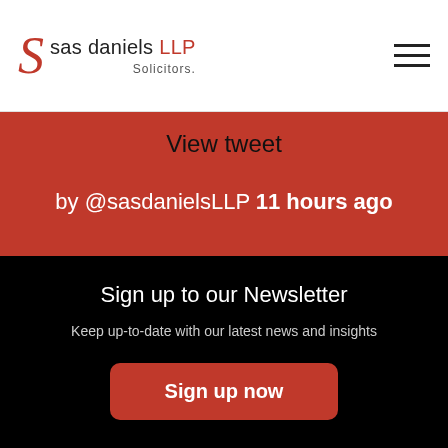sas daniels LLP Solicitors.
View tweet
by @sasdanielsLLP 11 hours ago
Sign up to our Newsletter
Keep up-to-date with our latest news and insights
Sign up now
Sectors